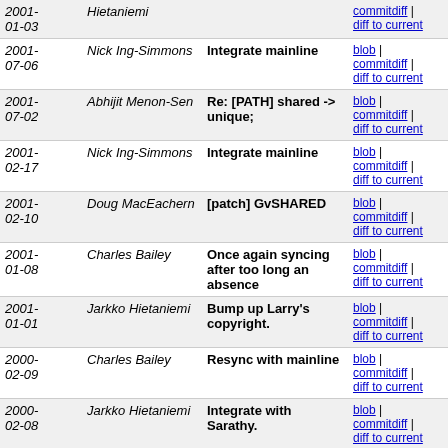| Date | Author | Message | Links |
| --- | --- | --- | --- |
| 2001-01-03 | Hietaniemi |  | blob | commitdiff | diff to current |
| 2001-07-06 | Nick Ing-Simmons | Integrate mainline | blob | commitdiff | diff to current |
| 2001-07-02 | Abhijit Menon-Sen | Re: [PATH] shared -> unique; | blob | commitdiff | diff to current |
| 2001-02-17 | Nick Ing-Simmons | Integrate mainline | blob | commitdiff | diff to current |
| 2001-02-10 | Doug MacEachern | [patch] GvSHARED | blob | commitdiff | diff to current |
| 2001-01-08 | Charles Bailey | Once again syncing after too long an absence | blob | commitdiff | diff to current |
| 2001-01-01 | Jarkko Hietaniemi | Bump up Larry's copyright. | blob | commitdiff | diff to current |
| 2000-02-09 | Charles Bailey | Resync with mainline | blob | commitdiff | diff to current |
| 2000-02-08 | Jarkko Hietaniemi | Integrate with Sarathy. | blob | commitdiff | diff to current |
| 2000-02-06 | Gurusamy Sarathy | set SvUTF8 on vectors only if there are chars > 127... | blob | commitdiff | diff to current |
| 2000-01-02 | Gurusamy Sarathy | autogenerate API listing from comments in the... | blob | commitdiff |